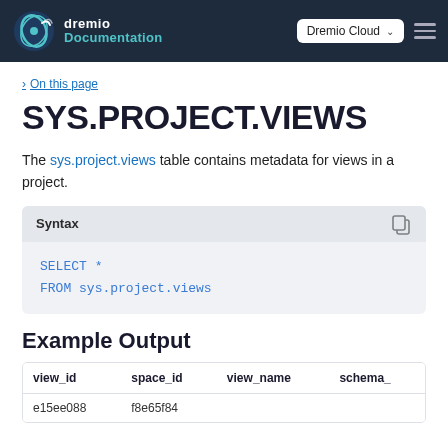dremio Documentation | Dremio Cloud
On this page
SYS.PROJECT.VIEWS
The sys.project.views table contains metadata for views in a project.
Syntax
Example Output
| view_id | space_id | view_name | schema_ |
| --- | --- | --- | --- |
| e15ee088... | f8e65f84... |  |  |